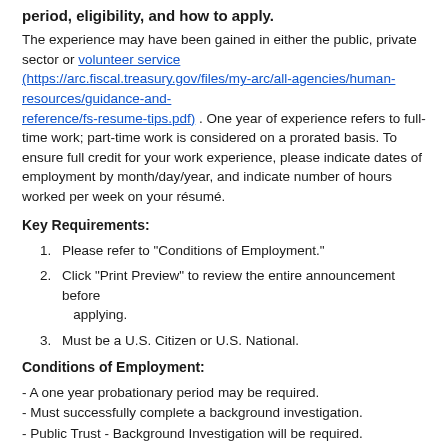period, eligibility, and how to apply.
The experience may have been gained in either the public, private sector or volunteer service (https://arc.fiscal.treasury.gov/files/my-arc/all-agencies/human-resources/guidance-and-reference/fs-resume-tips.pdf). One year of experience refers to full-time work; part-time work is considered on a prorated basis. To ensure full credit for your work experience, please indicate dates of employment by month/day/year, and indicate number of hours worked per week on your résumé.
Key Requirements:
Please refer to "Conditions of Employment."
Click "Print Preview" to review the entire announcement before applying.
Must be a U.S. Citizen or U.S. National.
Conditions of Employment:
- A one year probationary period may be required.
- Must successfully complete a background investigation.
- Public Trust - Background Investigation will be required.
- If you are a male applicant born after December 31, 1959, certify that you have registered with the Selective Service System (http://...